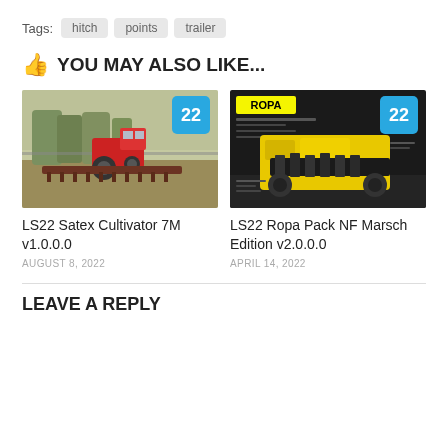Tags:  hitch  points  trailer
👍 YOU MAY ALSO LIKE...
[Figure (photo): Screenshot of LS22 Satex Cultivator 7M game mod showing a red tractor with cultivator attachment in a farm scene, with blue '22' badge]
[Figure (photo): Screenshot of LS22 Ropa Pack NF Marsch Edition showing a yellow agricultural machine on dark background with ROPA logo and blue '22' badge]
LS22 Satex Cultivator 7M v1.0.0.0
AUGUST 8, 2022
LS22 Ropa Pack NF Marsch Edition v2.0.0.0
APRIL 14, 2022
LEAVE A REPLY